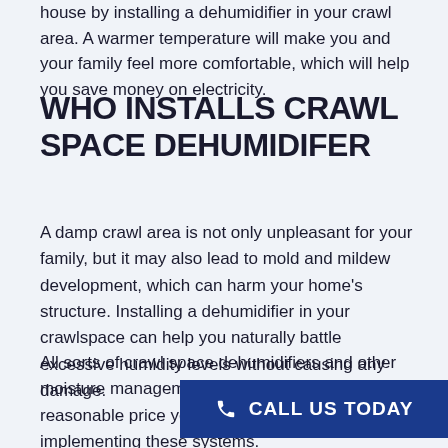house by installing a dehumidifier in your crawl area. A warmer temperature will make you and your family feel more comfortable, which will help you save money on electricity.
WHO INSTALLS CRAWL SPACE DEHUMIDIFER
A damp crawl area is not only unpleasant for your family, but it may also lead to mold and mildew development, which can harm your home's structure. Installing a dehumidifier in your crawlspace can help you naturally battle excessive humidity levels without causing any damage.
All sorts of crawl space dehumidifiers and other moisture management solutions are installed at a reasonable price years, we have been implementing these systems.
[Figure (other): Blue CTA button with phone icon and text CALL US TODAY]